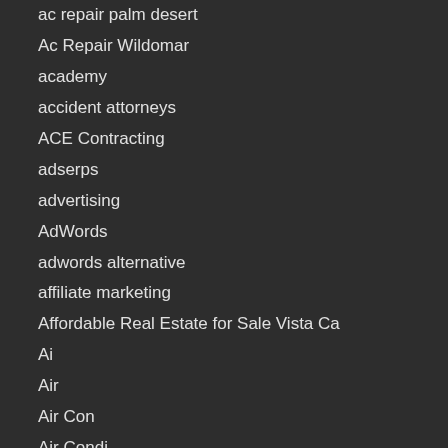ac repair palm desert
Ac Repair Wildomar
academy
accident attorneys
ACE Contracting
adserps
advertising
AdWords
adwords alternative
affiliate marketing
Affordable Real Estate for Sale Vista Ca
Ai
Air
Air Con
Air Condi
Air Conditi
air conditioner repair corona ca